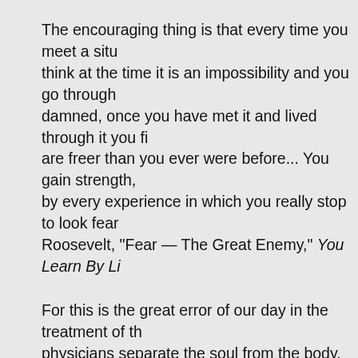The encouraging thing is that every time you meet a situation, though you think at the time it is an impossibility and you go through the tortures of the damned, once you have met it and lived through it you find that forever after are freer than you ever were before... You gain strength, courage, and confidence by every experience in which you really stop to look fear in the face. ~Eleanor Roosevelt, "Fear — The Great Enemy," You Learn By Living
For this is the great error of our day in the treatment of the human body, that physicians separate the soul from the body. ~Plato (c.428–c.348 BC), Charmides, translated by B. Jowett, 1871
Man performs, engenders, so much more than he can or should have to bear. That's how he finds that he can bear anything. ~William Faulkner
Only one must not forget that recovery is brought about not by the physician, but the sick man himself. He heals himself, by his own power, exactly as he walks by means of his own power, or eats, or thinks, breathes or sleeps. ~Georg Groddeck, M.D. (1866–1934)
Once you choose hope, anything's possible. ~Christoph